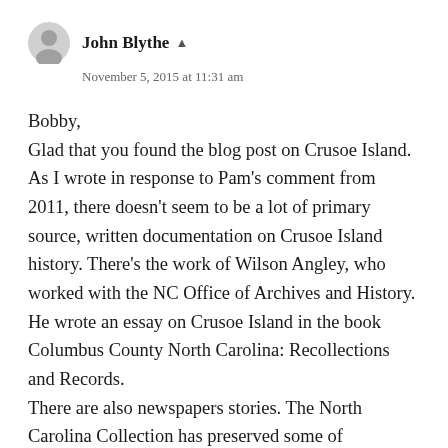John Blythe
November 5, 2015 at 11:31 am
Bobby,
Glad that you found the blog post on Crusoe Island. As I wrote in response to Pam's comment from 2011, there doesn't seem to be a lot of primary source, written documentation on Crusoe Island history. There's the work of Wilson Angley, who worked with the NC Office of Archives and History. He wrote an essay on Crusoe Island in the book Columbus County North Carolina: Recollections and Records.
There are also newspapers stories. The North Carolina Collection has preserved some of